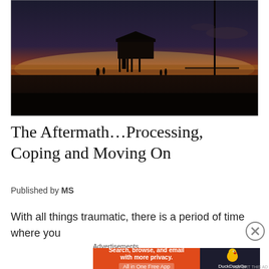[Figure (photo): Beach sunset silhouette scene with a lifeguard tower in the center, dark foreground, orange and yellow sky on the horizon over the ocean, people silhouetted along the shoreline]
The Aftermath…Processing, Coping and Moving On
Published by MS
With all things traumatic, there is a period of time where you
Advertisements
[Figure (screenshot): DuckDuckGo advertisement banner: orange left panel with text 'Search, browse, and email with more privacy. All in One Free App', dark right panel with DuckDuckGo duck logo and DuckDuckGo text]